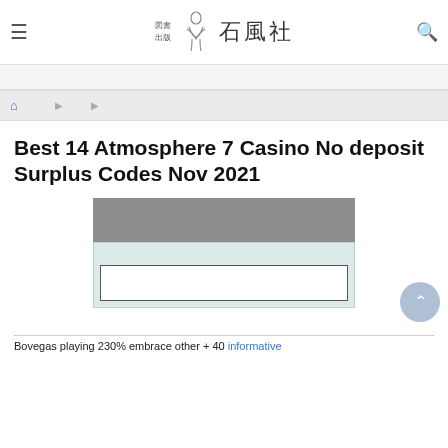図書出版 石風社 [logo with navigation: ハンバーガーメニュー, 新刊・近刊情報, 書評・メディア紹介, 石風社の本, オンラインショップ, 会社, 問合せ]
ホーム ▸ 出版 ▸
Best 14 Atmosphere 7 Casino No deposit Surplus Codes Nov 2021
[Figure (screenshot): Blurred/redacted content boxes: a gray box with obscured Japanese text, a light blue-gray box with obscured Japanese text and a white inner box with obscured Japanese text]
投稿
Bovegas playing 230% embrace other + 40 informative